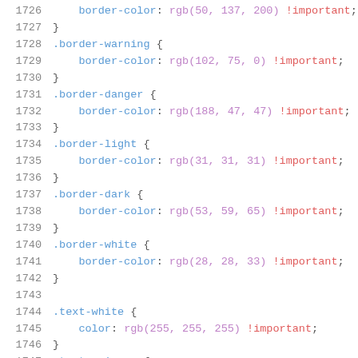1726    border-color: rgb(50, 137, 200) !important;
1727    }
1728    .border-warning {
1729        border-color: rgb(102, 75, 0) !important;
1730    }
1731    .border-danger {
1732        border-color: rgb(188, 47, 47) !important;
1733    }
1734    .border-light {
1735        border-color: rgb(31, 31, 31) !important;
1736    }
1737    .border-dark {
1738        border-color: rgb(53, 59, 65) !important;
1739    }
1740    .border-white {
1741        border-color: rgb(28, 28, 33) !important;
1742    }
1743
1744    .text-white {
1745        color: rgb(255, 255, 255) !important;
1746    }
1747    .text-primary {
1748        color: rgb(154, 185, 229) !important;